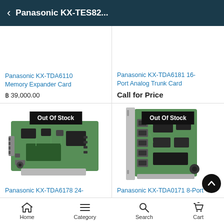← Panasonic KX-TES82...
Panasonic KX-TDA6110 Memory Expander Card
฿ 39,000.00
Panasonic KX-TDA6181 16-Port Analog Trunk Card
Call for Price
[Figure (photo): Panasonic KX-TDA6178 24-port expansion card PCB board, labeled Out Of Stock]
Panasonic KX-TDA6178 24-
[Figure (photo): Panasonic KX-TDA0171 8-Port expansion card PCB board, labeled Out Of Stock]
Panasonic KX-TDA0171 8-Port
Home  Category  Search  Cart